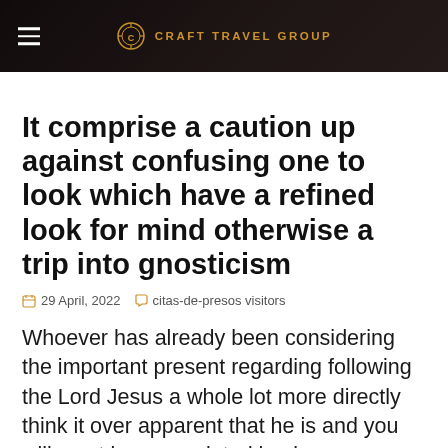CRAFT TRAVEL GROUP
It comprise a caution up against confusing one to look which have a refined look for mind otherwise a trip into gnosticism
29 April, 2022   citas-de-presos visitors
Whoever has already been considering the important present regarding following the Lord Jesus a whole lot more directly think it over apparent that he is and you will must be appreciated having an enthusiastic undivided